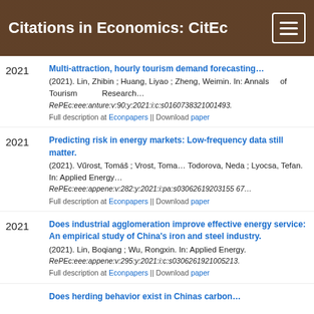Citations in Economics: CitEc
Multi-attraction, hourly tourism demand forecasting... (2021). Lin, Zhibin ; Huang, Liyao ; Zheng, Weimin. In: Annals of Tourism Research. RePEc:eee:anture:v:90:y:2021:i:c:s01607383 21001493. Full description at Econpapers || Download paper
Predicting risk in energy markets: Low-frequency data still matter. (2021). Vůrost, Tomáš ; Vrost, Toma ; Todorova, Neda ; Lyocsa, Tefan. In: Applied Energy. RePEc:eee:appene:v:282:y:2021:i:pa:s03062619203155 67. Full description at Econpapers || Download paper
Does industrial agglomeration improve effective energy service: An empirical study of China's iron and steel industry. (2021). Lin, Boqiang ; Wu, Rongxin. In: Applied Energy. RePEc:eee:appene:v:295:y:2021:i:c:s030626192100521 3. Full description at Econpapers || Download paper
Does herding behavior exist in Chinas carbon...